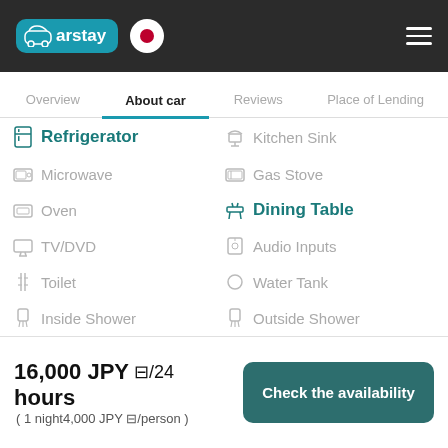Carstay [logo] [Japan flag] [hamburger menu]
Overview | About car | Reviews | Place of Lending
Refrigerator
Kitchen Sink
Microwave
Gas Stove
Oven
Dining Table
TV/DVD
Audio Inputs
Toilet
Water Tank
Inside Shower
Outside Shower
16,000 JPY ⊠/24 hours
( 1 night4,000 JPY ⊠/person )
Check the availability